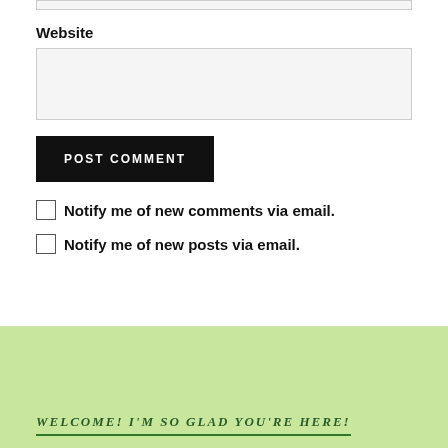Website
POST COMMENT
Notify me of new comments via email.
Notify me of new posts via email.
WELCOME! I'M SO GLAD YOU'RE HERE!